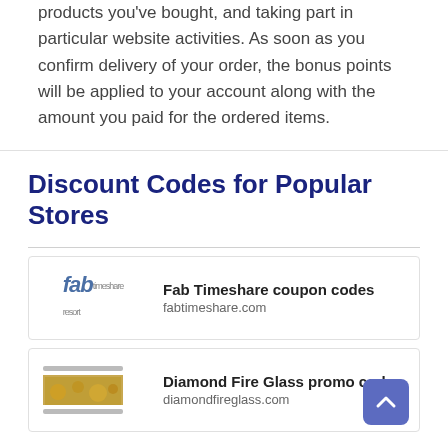products you've bought, and taking part in particular website activities. As soon as you confirm delivery of your order, the bonus points will be applied to your account along with the amount you paid for the ordered items.
Discount Codes for Popular Stores
Fab Timeshare coupon codes
fabtimeshare.com
Diamond Fire Glass promo codes
diamondfireglass.com